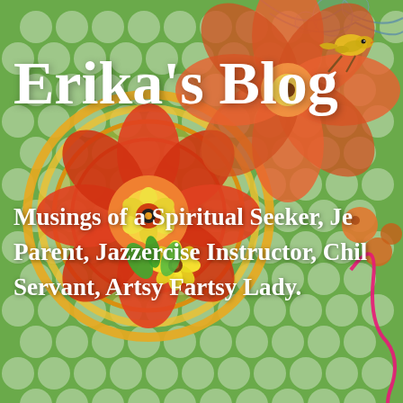[Figure (illustration): Colorful floral and folk-art patterned background with large orange/red flowers, green patterned wallpaper-like background, and a yellow bird in the upper right. Decorative mandala-style flower design in center-left area.]
Erika's Blog
Musings of a Spiritual Seeker, Je... Parent, Jazzercise Instructor, Chil... Servant, Artsy Fartsy Lady.
[Figure (illustration): Torn paper strip navigation bar with Home, Menu Planning with Kai, Wait, where's the old bl...]
Home
Menu Planning with Kai
Wait, where's the old bl
Monthly Archives: September 2016